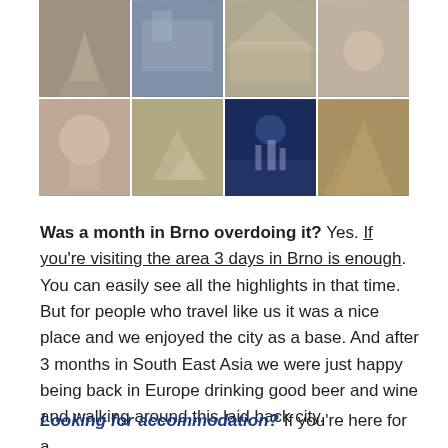[Figure (photo): Photo collage of Brno city scenes: statues, city squares, fountains, night views, and a traveler, arranged in a 4-column grid with two rows.]
Was a month in Brno overdoing it? Yes. If you're visiting the area 3 days in Brno is enough. You can easily see all the highlights in that time. But for people who travel like us it was a nice place and we enjoyed the city as a base. And after 3 months in South East Asia we were just happy being back in Europe drinking good beer and wine and walking around this laid back city.
Looking for accommodation? If you're here for a